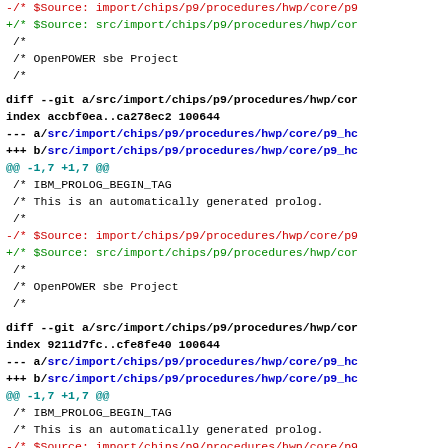diff output showing git changes to hwp/core/p9 procedures files
-/* $Source: import/chips/p9/procedures/hwp/core/p9
+/* $Source: src/import/chips/p9/procedures/hwp/cor
/*
/* OpenPOWER sbe Project
/*
diff --git a/src/import/chips/p9/procedures/hwp/cor
index accbf0ea..ca278ec2 100644
--- a/src/import/chips/p9/procedures/hwp/core/p9_hc
+++ b/src/import/chips/p9/procedures/hwp/core/p9_hc
@@ -1,7 +1,7 @@
/* IBM_PROLOG_BEGIN_TAG
/* This is an automatically generated prolog.
/*
-/* $Source: import/chips/p9/procedures/hwp/core/p9
+/* $Source: src/import/chips/p9/procedures/hwp/cor
/*
/* OpenPOWER sbe Project
/*
diff --git a/src/import/chips/p9/procedures/hwp/cor
index 9211d7fc..cfe8fe40 100644
--- a/src/import/chips/p9/procedures/hwp/core/p9_hc
+++ b/src/import/chips/p9/procedures/hwp/core/p9_hc
@@ -1,7 +1,7 @@
/* IBM_PROLOG_BEGIN_TAG
/* This is an automatically generated prolog.
/*
-/* $Source: import/chips/p9/procedures/hwp/core/p9
+/* $Source: src/import/chips/p9/procedures/hwp/cor
/*